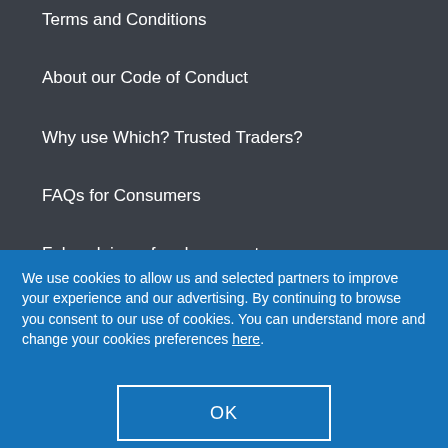Terms and Conditions
About our Code of Conduct
Why use Which? Trusted Traders?
FAQs for Consumers
False claims of endorsement
We use cookies to allow us and selected partners to improve your experience and our advertising. By continuing to browse you consent to our use of cookies. You can understand more and change your cookies preferences here.
OK